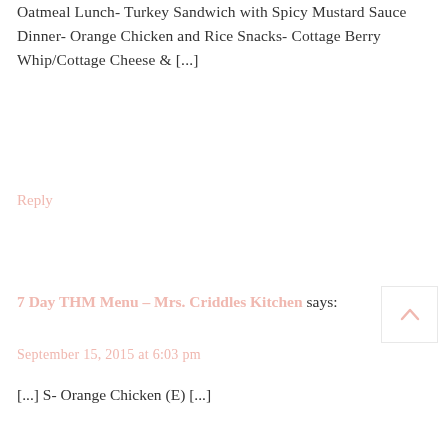Oatmeal Lunch- Turkey Sandwich with Spicy Mustard Sauce Dinner- Orange Chicken and Rice Snacks- Cottage Berry Whip/Cottage Cheese & [...]
Reply
7 Day THM Menu – Mrs. Criddles Kitchen says:
September 15, 2015 at 6:03 pm
[...] S- Orange Chicken (E) [...]